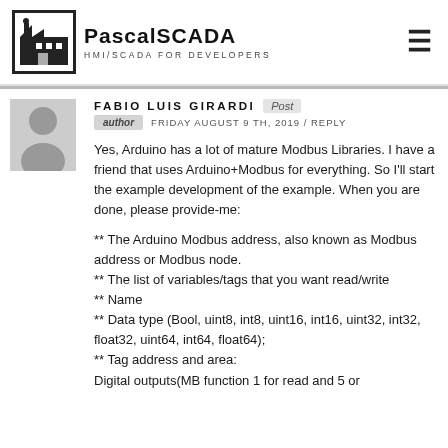[Figure (logo): PascalSCADA logo with factory icon and text 'HMI/SCADA FOR DEVELOPERS']
FABIO LUIS GIRARDI Post author FRIDAY AUGUST 9TH, 2019 / REPLY
Yes, Arduino has a lot of mature Modbus Libraries. I have a friend that uses Arduino+Modbus for everything. So I'll start the example development of the example. When you are done, please provide-me:
** The Arduino Modbus address, also known as Modbus address or Modbus node.
** The list of variables/tags that you want read/write
** Name
** Data type (Bool, uint8, int8, uint16, int16, uint32, int32, float32, uint64, int64, float64);
** Tag address and area:
Digital outputs(MB function 1 for read and 5 or